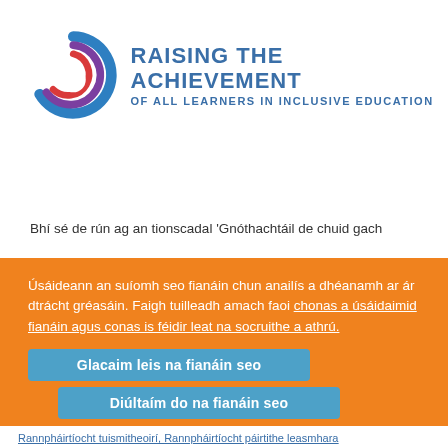[Figure (logo): Raising the Achievement of All Learners in Inclusive Education logo — circular swirl graphic in blue, red, and purple on the left; bold blue text 'RAISING THE ACHIEVEMENT / OF ALL LEARNERS IN INCLUSIVE EDUCATION' on the right]
Bhí sé de rún ag an tionscadal 'Gnóthachtáil de chuid gach
Úsáideann an suíomh seo fianáin chun anailís a dhéanamh ar ár dtrácht gréasáin. Faigh tuilleadh amach faoi chonas a úsáidaimid fianáin agus conas is féidir leat na socruithe a athrú.
Glacaim leis na fianáin seo
Diúltaím do na fianáin seo
Rannpháirtíocht tuismitheoirí, Rannpháirtíocht páirtithe leasmhara